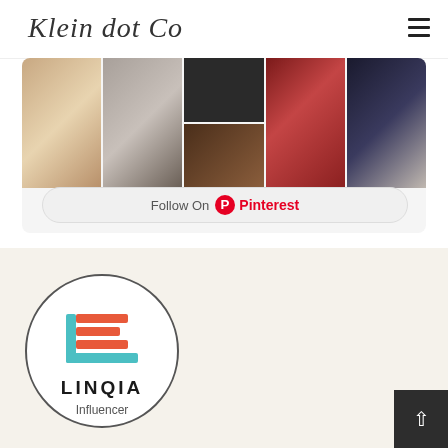Klein dot Co
[Figure (screenshot): Pinterest photo grid widget showing multiple food and lifestyle photos]
[Figure (logo): LINQIA Influencer badge — circular logo with orange and teal E-shaped icon above LINQIA Influencer text]